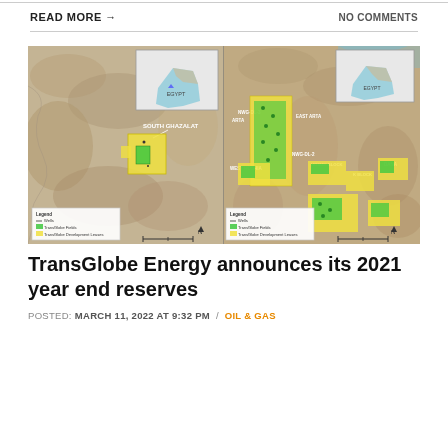READ MORE →
NO COMMENTS
[Figure (map): Two side-by-side satellite map images showing TransGlobe Energy field locations in Egypt. Left map shows South Ghazalat area with yellow development leases and green producing fields. Right map shows NWG-DL-4, NWG-DL-1, NWG-DL-3, Arta, East Arta, West Hoshia, NWG-DL-2, Hosmh Block, K Block, and Dana fields. Both maps include inset maps of Egypt and legends showing Wells, TransGlobe Fields, and TransGlobe Development Leases.]
TransGlobe Energy announces its 2021 year end reserves
POSTED: MARCH 11, 2022 AT 9:32 PM  /  OIL & GAS